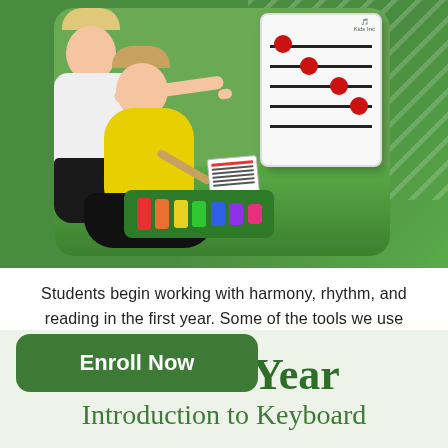[Figure (photo): A child in a yellow shirt sits on grass playing a xylophone while an adult points at a music notation board with red dots on staff lines. The scene is outdoors on green grass with a green background.]
Students begin working with harmony, rhythm, and reading in the first year. Some of the tools we use include songs, Tone [Chimes,] and the autoharp.
Second Year
Introduction to Keyboard